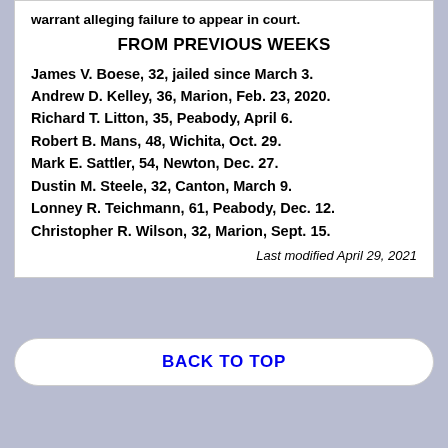warrant alleging failure to appear in court.
FROM PREVIOUS WEEKS
James V. Boese, 32, jailed since March 3.
Andrew D. Kelley, 36, Marion, Feb. 23, 2020.
Richard T. Litton, 35, Peabody, April 6.
Robert B. Mans, 48, Wichita, Oct. 29.
Mark E. Sattler, 54, Newton, Dec. 27.
Dustin M. Steele, 32, Canton, March 9.
Lonney R. Teichmann, 61, Peabody, Dec. 12.
Christopher R. Wilson, 32, Marion, Sept. 15.
Last modified April 29, 2021